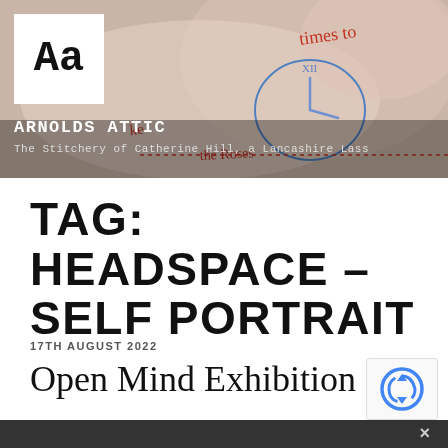[Figure (photo): Header banner with embroidery/stitchery photo background showing needlework with text, with 'Aa' logo in white box, site title 'ARNOLDS ATTIC' and subtitle 'The Stitchery of Catherine Hill, a Lancashire Lass']
TAG: HEADSPACE – SELF PORTRAIT
17TH AUGUST 2022
Open Mind Exhibition